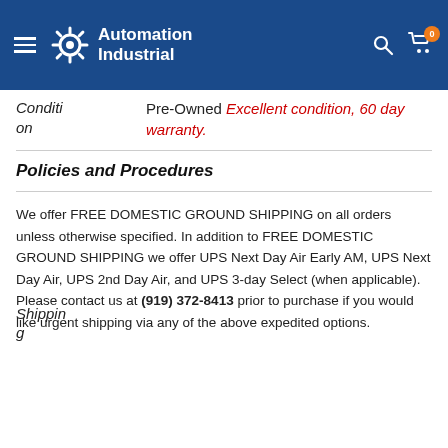Automation Industrial
| Condition | Value |
| --- | --- |
| Condition | Pre-Owned Excellent condition, 60 day warranty. |
Policies and Procedures
| Shipping | Value |
| --- | --- |
| Shipping | We offer FREE DOMESTIC GROUND SHIPPING on all orders unless otherwise specified. In addition to FREE DOMESTIC GROUND SHIPPING we offer UPS Next Day Air Early AM, UPS Next Day Air, UPS 2nd Day Air, and UPS 3-day Select (when applicable). Please contact us at (919) 372-8413 prior to purchase if you would like urgent shipping via any of the above expedited options. |